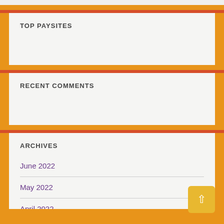TOP PAYSITES
RECENT COMMENTS
ARCHIVES
June 2022
May 2022
April 2022
March 2022
February 2022